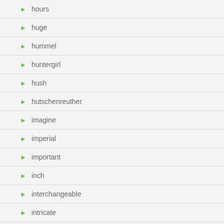hours
huge
hummel
huntergirl
hush
hutschenreuther
imagine
imperial
important
inch
interchangeable
intricate